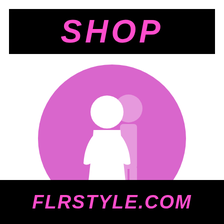SHOP
[Figure (logo): Pink circle containing two restroom-style human figures: a white female figure in front and a lighter pink male figure behind/to the right, on a medium pink circular background]
FLRSTYLE.COM